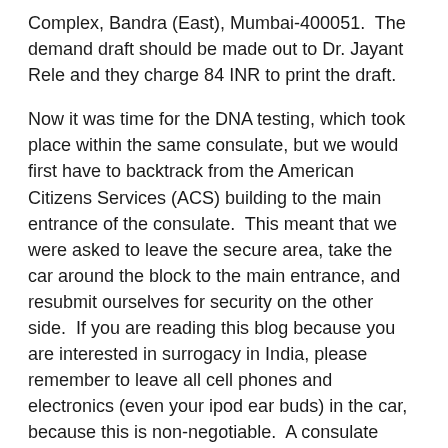Complex, Bandra (East), Mumbai-400051.  The demand draft should be made out to Dr. Jayant Rele and they charge 84 INR to print the draft.
Now it was time for the DNA testing, which took place within the same consulate, but we would first have to backtrack from the American Citizens Services (ACS) building to the main entrance of the consulate.  This meant that we were asked to leave the secure area, take the car around the block to the main entrance, and resubmit ourselves for security on the other side.  If you are reading this blog because you are interested in surrogacy in India, please remember to leave all cell phones and electronics (even your ipod ear buds) in the car, because this is non-negotiable.  A consulate employee was waiting for us at the main entrance, checked my passport against his list of DNA tests for the day, and granted us access to a waiting